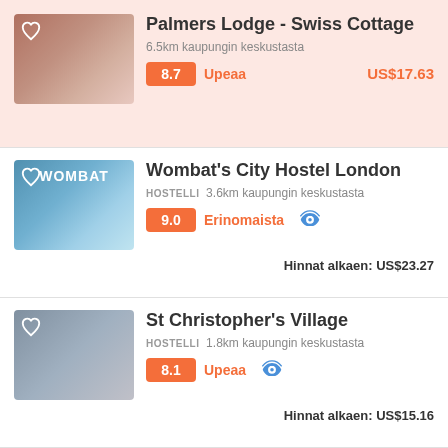Palmers Lodge - Swiss Cottage
6.5km kaupungin keskustasta
8.7 Upeaa US$17.63
Wombat's City Hostel London
HOSTELLI 3.6km kaupungin keskustasta
9.0 Erinomaista
Hinnat alkaen: US$23.27
St Christopher's Village
HOSTELLI 1.8km kaupungin keskustasta
8.1 Upeaa
Hinnat alkaen: US$15.16